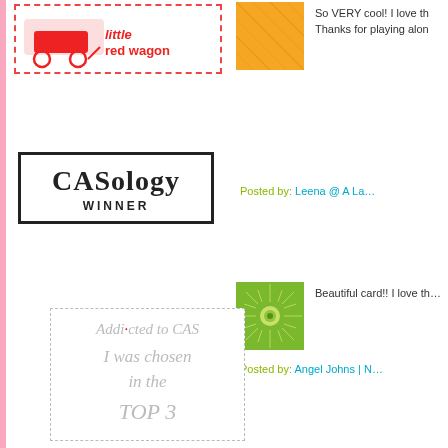[Figure (logo): Little Red Wagon badge/logo - red wagon illustration with text 'little red wagon']
[Figure (photo): Orange patterned thumbnail image with geometric lines]
So VERY cool! I love th… Thanks for playing alon…
[Figure (logo): CASology WINNER badge - black border box with CASology in large serif font and WINNER below]
Posted by: Leena @ A La…
[Figure (photo): Green radial sunburst pattern thumbnail]
Beautiful card!! I love th…
Posted by: Angel Johns | N…
[Figure (logo): Addicted to CAS - I was chosen in the TOP 3 badge]
[Figure (photo): Blue/white circular spiral pattern thumbnail]
Fabulous graphic effect… selectively. Thank you f…
Posted by: Marina | Nover…
[Figure (photo): Still Queenin badge - blue decorative frame with woman wearing teal hat]
[Figure (photo): Gray/white circular spiral pattern thumbnail]
I love all those fun orna…